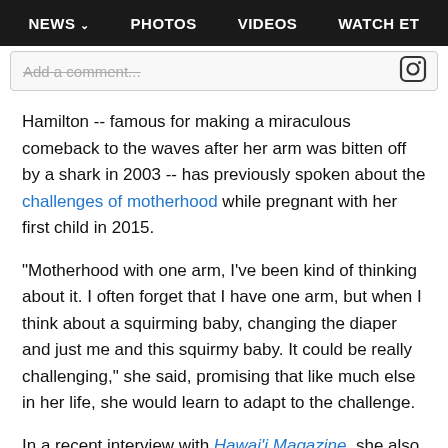NEWS  PHOTOS  VIDEOS  WATCH ET
[Figure (screenshot): Comment input box with Instagram icon on the right]
Hamilton -- famous for making a miraculous comeback to the waves after her arm was bitten off by a shark in 2003 -- has previously spoken about the challenges of motherhood while pregnant with her first child in 2015.
"Motherhood with one arm, I've been kind of thinking about it. I often forget that I have one arm, but when I think about a squirming baby, changing the diaper and just me and this squirmy baby. It could be really challenging," she said, promising that like much else in her life, she would learn to adapt to the challenge.
In a recent interview with Hawai'i Magazine, she also